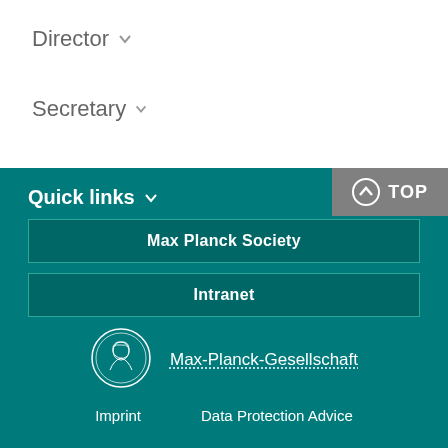Director
Secretary
Quick links
Max Planck Society
Intranet
[Figure (logo): Max-Planck-Gesellschaft circular medallion logo with portrait engraving]
Max-Planck-Gesellschaft
Imprint
Data Protection Advice